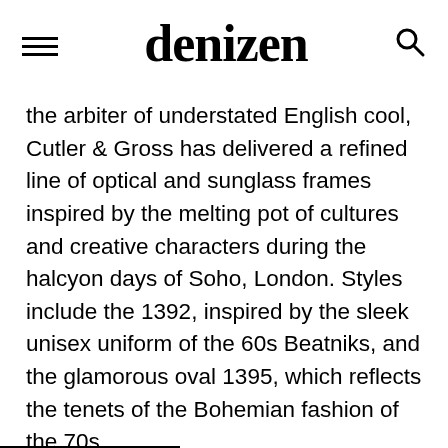denizen
the arbiter of understated English cool, Cutler & Gross has delivered a refined line of optical and sunglass frames inspired by the melting pot of cultures and creative characters during the halcyon days of Soho, London. Styles include the 1392, inspired by the sleek unisex uniform of the 60s Beatniks, and the glamorous oval 1395, which reflects the tenets of the Bohemian fashion of the 70s.